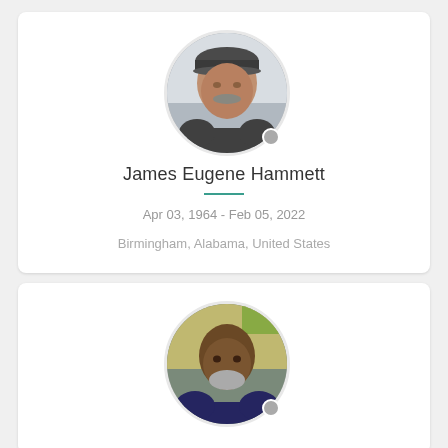[Figure (photo): Circular profile photo of a middle-aged man wearing a dark cap, with a grey mustache, looking at camera]
James Eugene Hammett
Apr 03, 1964 - Feb 05, 2022
Birmingham, Alabama, United States
[Figure (photo): Circular profile photo of an older Black man with a grey beard, wearing a dark shirt, looking at camera]